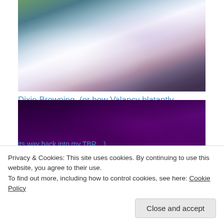[Figure (photo): Impressionist painting of two women in white dresses among blue and green foliage]
Dixie Browning, (or how Valancy blatantly, unrepentantly over-used brackets in this post…)
March 14, 2016
In "Blue Castle Considerations"
[Figure (photo): Close-up painting of large deep purple/violet flowers, likely pansies or violets]
its way back into my TBR…)
Privacy & Cookies: This site uses cookies. By continuing to use this website, you agree to their use.
To find out more, including how to control cookies, see here: Cookie Policy
Close and accept